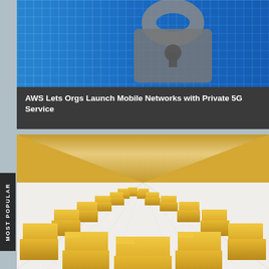[Figure (photo): Blue digital grid with a padlock/security silhouette overlay]
AWS Lets Orgs Launch Mobile Networks with Private 5G Service
[Figure (photo): Rows of golden/yellow file folders in perspective, vanishing point view]
MOST POPULAR